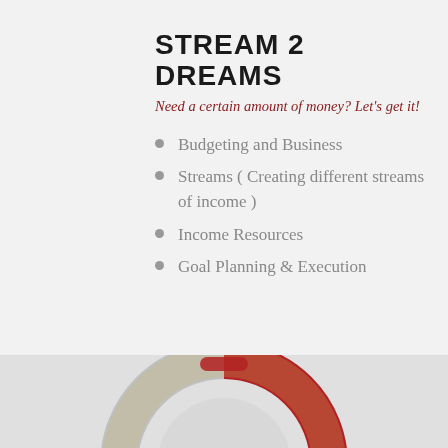STREAM 2 DREAMS
Need a certain amount of money? Let's get it!
Budgeting and Business
Streams ( Creating different streams of income )
Income Resources
Goal Planning & Execution
[Figure (photo): A life preserver ring decorated with printed money/dollar bills, with red handles, photographed on a light background]